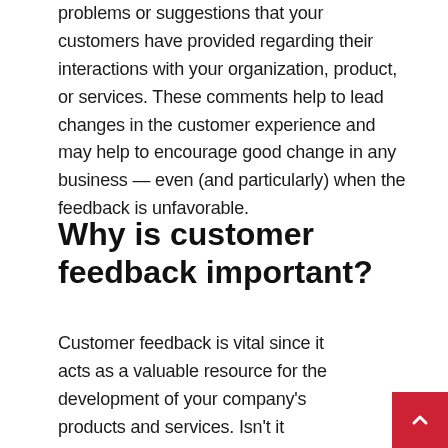problems or suggestions that your customers have provided regarding their interactions with your organization, product, or services. These comments help to lead changes in the customer experience and may help to encourage good change in any business — even (and particularly) when the feedback is unfavorable.
Why is customer feedback important?
Customer feedback is vital since it acts as a valuable resource for the development of your company's products and services. Isn't it interesting to know what you're doing right as a business — and what you're doing